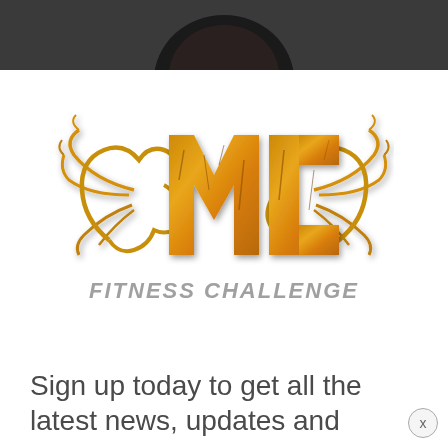[Figure (photo): Dark grey top bar with a partial view of a person's head/hair at the top of the page]
[Figure (logo): MC Fitness Challenge logo — golden cracked stone letters 'MC' with antler/branch decorations on both sides, and 'FITNESS CHALLENGE' text in grey italic below]
Sign up today to get all the latest news, updates and